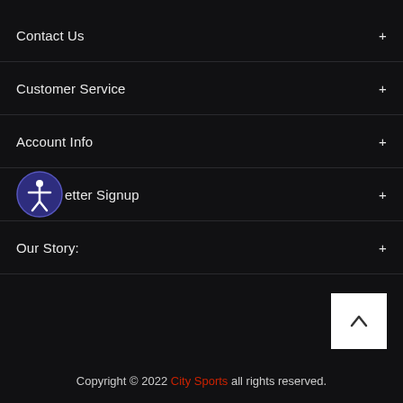Contact Us
Customer Service
Account Info
Newsletter Signup
Our Story:
[Figure (illustration): Accessibility icon: circular badge with dark blue background and white figure with arms outstretched, representing accessibility features]
[Figure (illustration): Scroll-to-top button: white square with upward-pointing chevron arrow]
Copyright © 2022 City Sports all rights reserved.